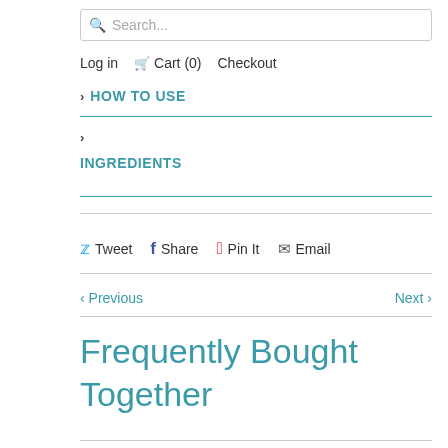Search...
Log in  Cart (0)  Checkout
> HOW TO USE
> INGREDIENTS
Tweet  Share  Pin It  Email
< Previous  Next >
Frequently Bought Together